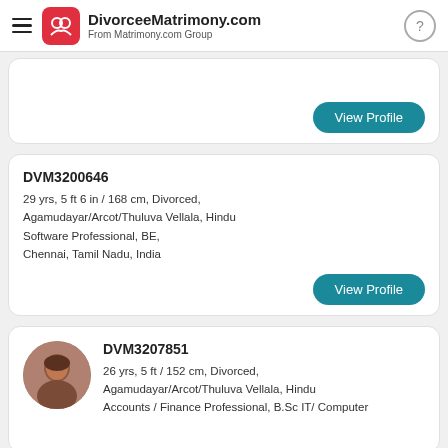DivorceeMatrimony.com From Matrimony.com Group
View Profile
DVM3200646
29 yrs, 5 ft 6 in / 168 cm, Divorced, Agamudayar/Arcot/Thuluva Vellala, Hindu
Software Professional, BE,
Chennai, Tamil Nadu, India
View Profile
DVM3207851
26 yrs, 5 ft / 152 cm, Divorced, Agamudayar/Arcot/Thuluva Vellala, Hindu
Accounts / Finance Professional, B.Sc IT/ Computer